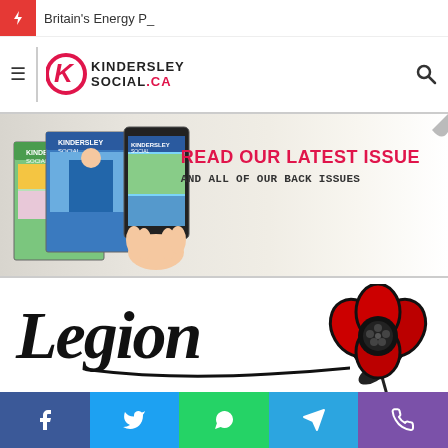Britain's Energy P_
[Figure (logo): KindersleySocial.ca logo with hamburger menu and search icon]
[Figure (illustration): Banner: READ OUR LATEST ISSUE AND ALL OF OUR BACK ISSUES with magazine images]
[Figure (logo): Legion logo with red poppy flower]
[Figure (infographic): Social share bar with Facebook, Twitter, WhatsApp, Telegram, and phone icons]